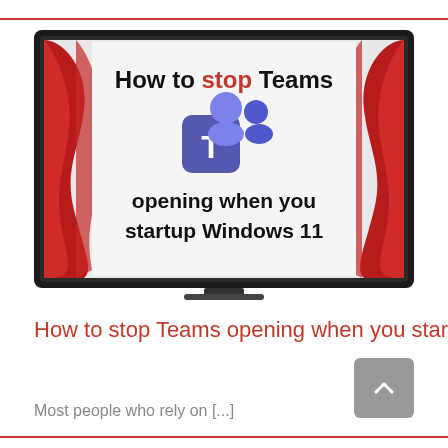[Figure (illustration): A monitor/screen with a dark border showing the text 'How to stop Teams opening when you startup Windows 11' with the Microsoft Teams logo in the center. Red theater curtains are visible on the left and right sides of the screen background. The word 'stop' is highlighted in red, the rest of the text is bold black.]
How to stop Teams opening when you startup Windows 11
Most people who rely on [...]